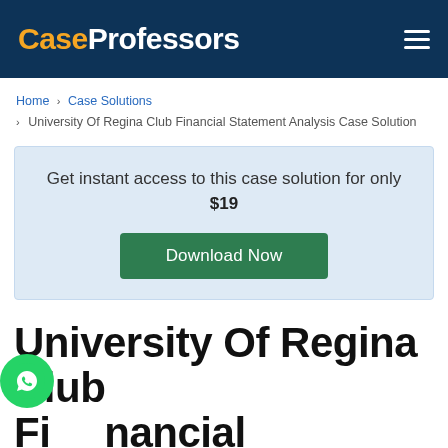CaseProfessors
Home › Case Solutions › University Of Regina Club Financial Statement Analysis Case Solution
Get instant access to this case solution for only $19
Download Now
University Of Regina Club Financial Statement Analysis Case Solution